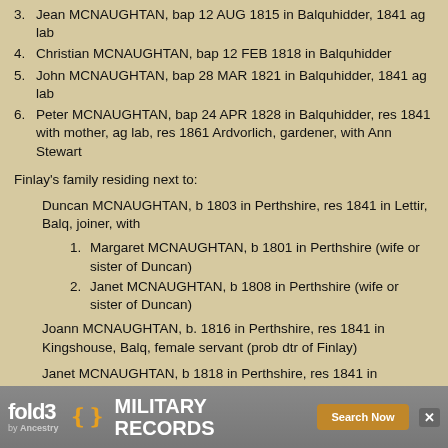3. Jean MCNAUGHTAN, bap 12 AUG 1815 in Balquhidder, 1841 ag lab
4. Christian MCNAUGHTAN, bap 12 FEB 1818 in Balquhidder
5. John MCNAUGHTAN, bap 28 MAR 1821 in Balquhidder, 1841 ag lab
6. Peter MCNAUGHTAN, bap 24 APR 1828 in Balquhidder, res 1841 with mother, ag lab, res 1861 Ardvorlich, gardener, with Ann Stewart
Finlay's family residing next to:
Duncan MCNAUGHTAN, b 1803 in Perthshire, res 1841 in Lettir, Balq, joiner, with
1. Margaret MCNAUGHTAN, b 1801 in Perthshire (wife or sister of Duncan)
2. Janet MCNAUGHTAN, b 1808 in Perthshire (wife or sister of Duncan)
Joann MCNAUGHTAN, b. 1816 in Perthshire, res 1841 in Kingshouse, Balq, female servant (prob dtr of Finlay)
Janet MCNAUGHTAN, b 1818 in Perthshire, res 1841 in Edinchip, Balq, ag lab (dtr of Finlay?)
Isabella MCNAUGHTAN, b 1801 in Perthshire, res 1841 in Ballemeanoch (prob in Glenbuckie), Balq, dressmaker
Mar... Cars...
[Figure (screenshot): Advertisement banner for fold3 Military Records by Ancestry with Search Now button and close button]